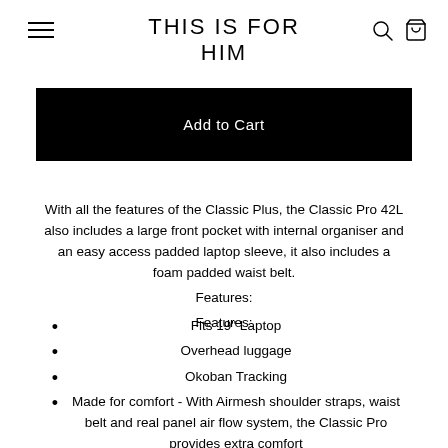THIS IS FOR HIM
Add to Cart
With all the features of the Classic Plus, the Classic Pro 42L also includes a large front pocket with internal organiser and an easy access padded laptop sleeve, it also includes a foam padded waist belt.
Features:
Features:
Fits 19" Laptop
Overhead luggage
Okoban Tracking
Made for comfort - With Airmesh shoulder straps, waist belt and real panel air flow system, the Classic Pro provides extra comfort
Practical design - A U-Shaped easy access front pocket with padded laptop sleeve, organiser, key clip and elastic pen loops